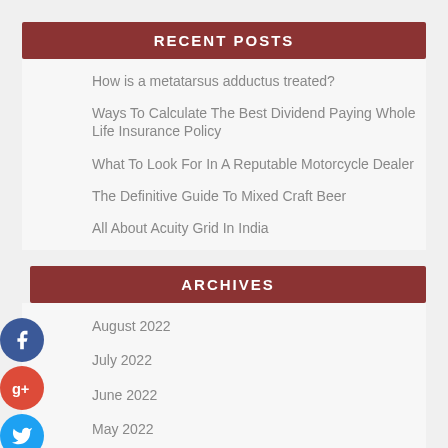RECENT POSTS
How is a metatarsus adductus treated?
Ways To Calculate The Best Dividend Paying Whole Life Insurance Policy
What To Look For In A Reputable Motorcycle Dealer
The Definitive Guide To Mixed Craft Beer
All About Acuity Grid In India
ARCHIVES
August 2022
July 2022
June 2022
May 2022